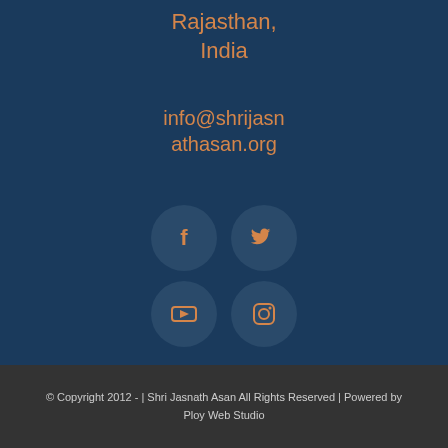Rajasthan, India
info@shrijasnathasan.org
[Figure (infographic): Four social media icon circles arranged in a 2x2 grid: Facebook (f), Twitter (bird), YouTube (play button), Instagram (camera). Each icon is orange on a dark blue circular background.]
© Copyright 2012 - | Shri Jasnath Asan All Rights Reserved | Powered by Ploy Web Studio